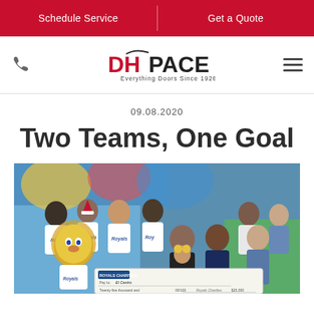Schedule Service | Get a Quote
[Figure (logo): DH Pace logo — red DH and black PACE text, tagline: Everything Doors Since 1926]
09.08.2020
Two Teams, One Goal
[Figure (photo): Group photo of Kansas City Royals players and staff in Royals jerseys with a mascot (lion costume) holding a large check made out to El Centro for twenty-five thousand dollars, posing with community members indoors]